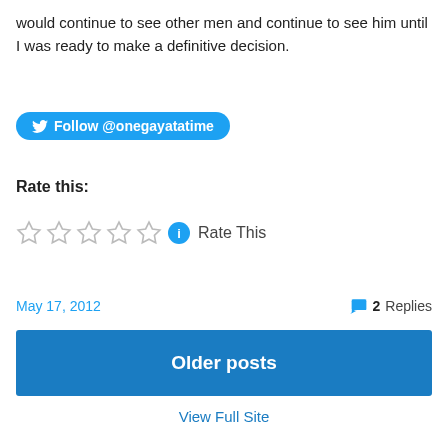would continue to see other men and continue to see him until I was ready to make a definitive decision.
[Figure (other): Twitter Follow button for @onegayatatime]
Rate this:
[Figure (other): Five empty star rating widgets with info icon and 'Rate This' text]
May 17, 2012
2 Replies
Older posts
View Full Site